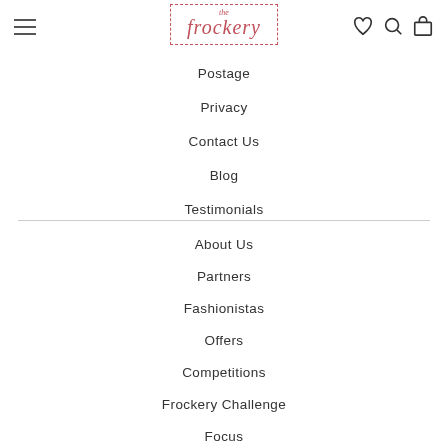the frockery
Postage
Privacy
Contact Us
Blog
Testimonials
About Us
Partners
Fashionistas
Offers
Competitions
Frockery Challenge
Focus